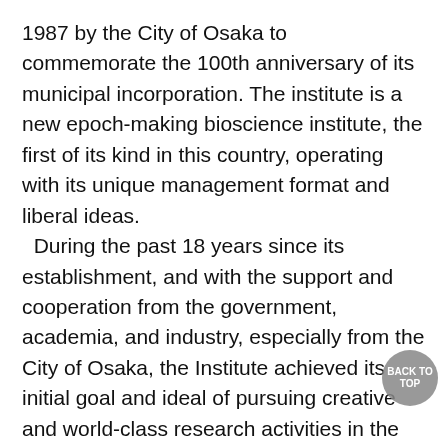1987 by the City of Osaka to commemorate the 100th anniversary of its municipal incorporation. The institute is a new epoch-making bioscience institute, the first of its kind in this country, operating with its unique management format and liberal ideas.
  During the past 18 years since its establishment, and with the support and cooperation from the government, academia, and industry, especially from the City of Osaka, the Institute achieved its initial goal and ideal of pursuing creative and world-class research activities in the basic field of bioscience and of training and producing a large number of excellent young Japanese investigators as well as researchers from abroad. These accomplishments have been widely acclaimed world-wide. For example, according to the US-based ISI Thomson Scientific survey conducted in 2002, the citation number of articles per investigator during the last 10 years of Osaka Bioscience Institute was No.1